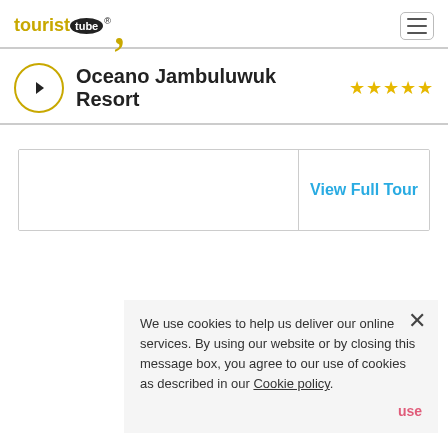touristtube® (logo with hamburger menu)
Oceano Jambuluwuk Resort ★★★★★
[Figure (screenshot): Tour viewer box with 'View Full Tour' link on the right side]
We use cookies to help us deliver our online services. By using our website or by closing this message box, you agree to our use of cookies as described in our Cookie policy. use